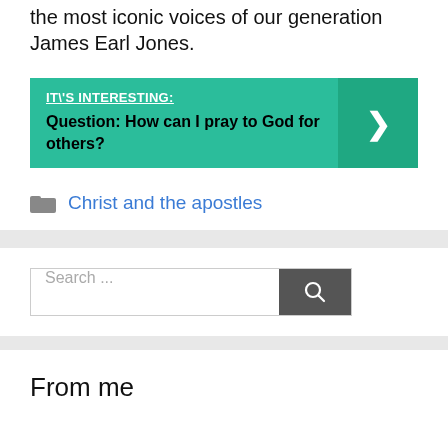the most iconic voices of our generation James Earl Jones.
[Figure (infographic): Green banner with label IT\'S INTERESTING: and question 'Question: How can I pray to God for others?' with a right-arrow chevron on the right side.]
Christ and the apostles
Search ...
From me